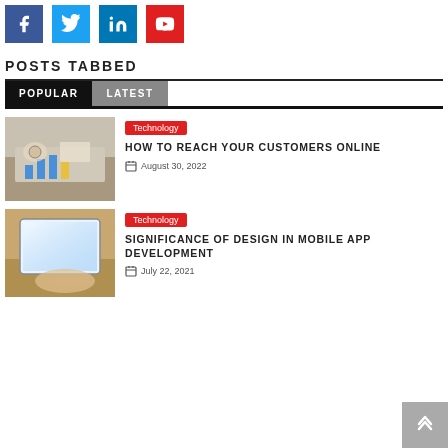[Figure (infographic): Social media icon bar with Facebook (blue), Twitter (light blue), LinkedIn (dark blue), YouTube (red) icons]
POSTS TABBED
POPULAR | LATEST (tab navigation)
[Figure (photo): Business people reviewing charts and graphs on paper, with hands and a watch visible]
Technology
HOW TO REACH YOUR CUSTOMERS ONLINE
August 30, 2022
[Figure (photo): Person using a tablet/laptop with a bright backlit screen]
Technology
SIGNIFICANCE OF DESIGN IN MOBILE APP DEVELOPMENT
July 22, 2021